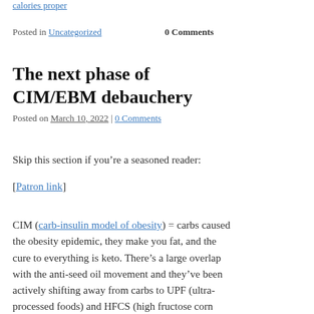calories proper
Posted in Uncategorized   0 Comments
The next phase of CIM/EBM debauchery
Posted on March 10, 2022 | 0 Comments
Skip this section if you're a seasoned reader:
[Patron link]
CIM (carb-insulin model of obesity) = carbs caused the obesity epidemic, they make you fat, and the cure to everything is keto. There's a large overlap with the anti-seed oil movement and they've been actively shifting away from carbs to UPF (ultra-processed foods) and HFCS (high fructose corn syrup), rightfully so.